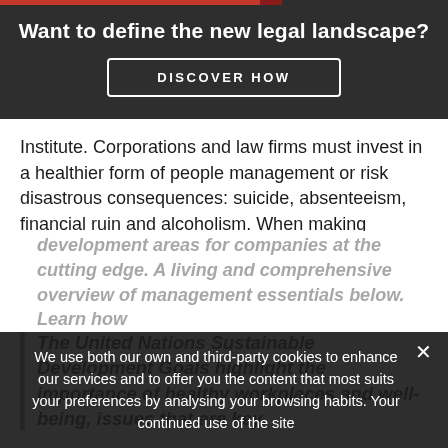Want to define the new legal landscape?
DISCOVER HOW
Institute. Corporations and law firms must invest in a healthier form of people management or risk disastrous consequences: suicide, absenteeism, financial ruin and alcoholism. When making decisions that affect their employees, companies must come to grips with these taboos—and many others.
The United Nations Sustainable Development Goals highlight the importance of healthy workplaces and well-being, issues that are key
development areas for companies at the cutting edge. A living and comprehensive overview of management essentials below. Only for subscribers. Learn how
We use both our own and third-party cookies to enhance our services and to offer you the content that most suits your preferences by analysing your browsing habits. Your continued use of the site